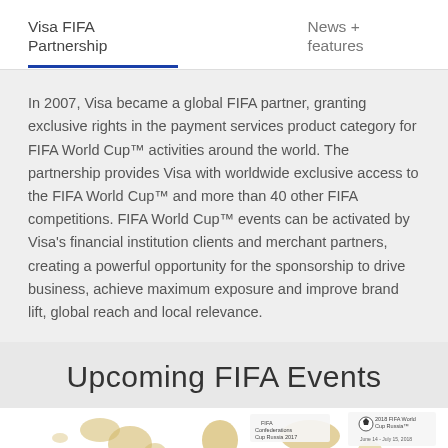Visa FIFA Partnership    News + features
In 2007, Visa became a global FIFA partner, granting exclusive rights in the payment services product category for FIFA World Cup™ activities around the world. The partnership provides Visa with worldwide exclusive access to the FIFA World Cup™ and more than 40 other FIFA competitions. FIFA World Cup™ events can be activated by Visa's financial institution clients and merchant partners, creating a powerful opportunity for the sponsorship to drive business, achieve maximum exposure and improve brand lift, global reach and local relevance.
Upcoming FIFA Events
[Figure (map): World map image strip showing FIFA Confederations Cup Russia 2017 and 2018 FIFA World Cup Russia logos]